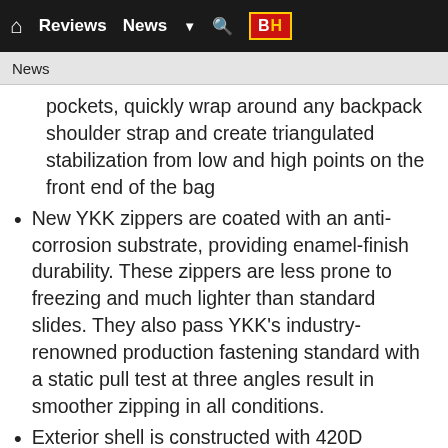Home | Reviews | News | Search | B&H
News
pockets, quickly wrap around any backpack shoulder strap and create triangulated stabilization from low and high points on the front end of the bag
New YKK zippers are coated with an anti-corrosion substrate, providing enamel-finish durability. These zippers are less prone to freezing and much lighter than standard slides. They also pass YKK’s industry-renowned production fastening standard with a static pull test at three angles result in smoother zipping in all conditions.
Exterior shell is constructed with 420D nylon with Durable Water Resistance